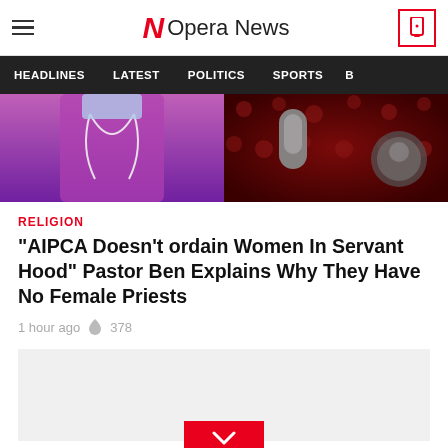Opera News
HEADLINES  LATEST  POLITICS  SPORTS
[Figure (photo): Two-panel hero image: left panel shows a person in purple/magenta robes with a white cord necklace; right panel shows a person holding a microphone in front of a dark red patterned background.]
RELIGION
“AIPCA Doesn't ordain Women In Servant Hood” Pastor Ben Explains Why They Have No Female Priests
1 hour ago  378
[Figure (other): Grey advertisement placeholder box with a red chevron/down-arrow button at the bottom center.]